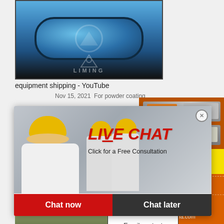[Figure (photo): Blue industrial ball mill machine with LIMING branding]
equipment shipping - YouTube
Nov 15, 2021  For powder coating
[Figure (photo): Live chat popup with workers in yellow helmets, LIVE CHAT heading in red italic, Chat now and Chat later buttons]
[Figure (photo): Orange sidebar with mining machinery images, Enjoy 3% discount / Click to Chat, Enquiry, limingjlmofen@sina.com]
More
Get Price
Paint Powder
Email contact
Co
[Figure (photo): Quarry or mining site with dust and machinery at bottom of page]